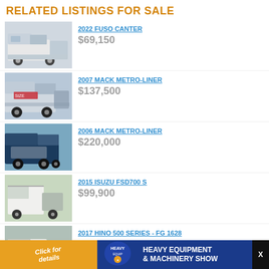RELATED LISTINGS FOR SALE
2022 FUSO CANTER — $69,150
2007 MACK METRO-LINER — $137,500
2006 MACK METRO-LINER — $220,000
2015 ISUZU FSD700 S — $99,900
2017 HINO 500 SERIES - FG 1628 — $149,900
[Figure (infographic): Advertisement banner for Heavy Equipment & Machinery Show with orange left panel, navy right panel and logo in center.]